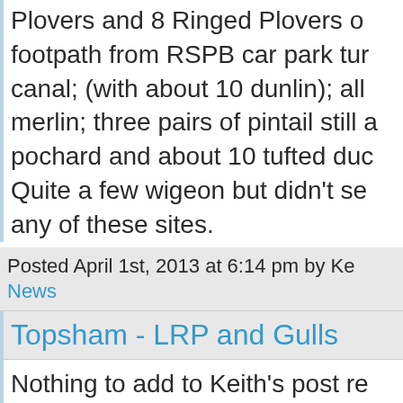Plovers and 8 Ringed Plovers o... footpath from RSPB car park tur... canal; (with about 10 dunlin); all... merlin; three pairs of pintail still a... pochard and about 10 tufted duc... Quite a few wigeon but didn't se... any of these sites.
Posted April 1st, 2013 at 6:14 pm by Ke...
News
Topsham - LRP and Gulls
Nothing to add to Keith's post re... Merch but here's a photo of the...